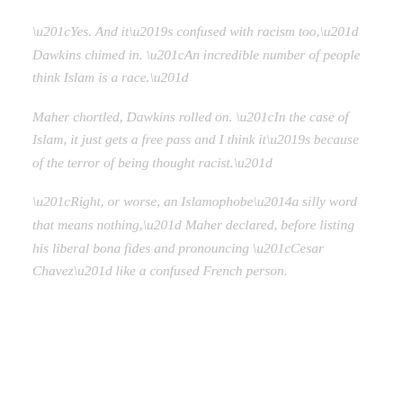“Yes. And it’s confused with racism too,” Dawkins chimed in. “An incredible number of people think Islam is a race.”
Maher chortled, Dawkins rolled on. “In the case of Islam, it just gets a free pass and I think it’s because of the terror of being thought racist.”
“Right, or worse, an Islamophobe—a silly word that means nothing,” Maher declared, before listing his liberal bona fides and pronouncing “Cesar Chavez” like a confused French person.